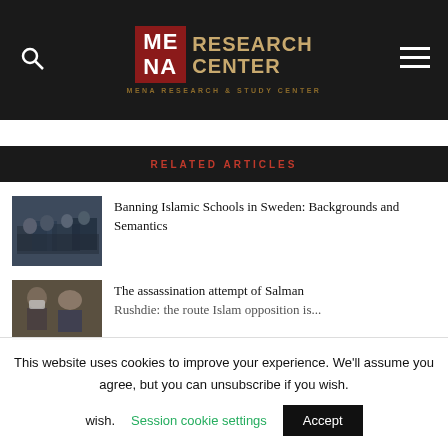[Figure (logo): MENA Research & Study Center logo with red block letters ME/NA and gold text RESEARCH CENTER on dark background]
RELATED ARTICLES
[Figure (photo): Students sitting at desks in a classroom, viewed from behind]
Banning Islamic Schools in Sweden: Backgrounds and Semantics
[Figure (photo): Two men, one wearing a mask, the other a bald older man]
The assassination attempt of Salman Rushdie: the route Islam opposition is...
This website uses cookies to improve your experience. We'll assume you agree, but you can unsubscribe if you wish.
Session cookie settings
Accept